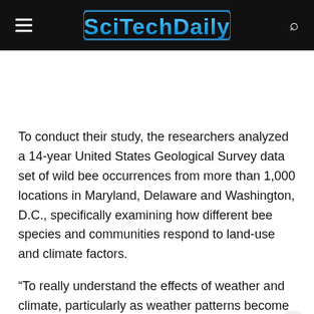SciTechDaily
To conduct their study, the researchers analyzed a 14-year United States Geological Survey data set of wild bee occurrences from more than 1,000 locations in Maryland, Delaware and Washington, D.C., specifically examining how different bee species and communities respond to land-use and climate factors.
“To really understand the effects of weather and climate, particularly as weather patterns become more variable